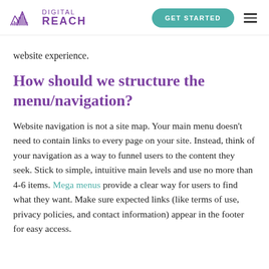Digital Reach | GET STARTED
website experience.
How should we structure the menu/navigation?
Website navigation is not a site map. Your main menu doesn't need to contain links to every page on your site. Instead, think of your navigation as a way to funnel users to the content they seek. Stick to simple, intuitive main levels and use no more than 4-6 items. Mega menus provide a clear way for users to find what they want. Make sure expected links (like terms of use, privacy policies, and contact information) appear in the footer for easy access.